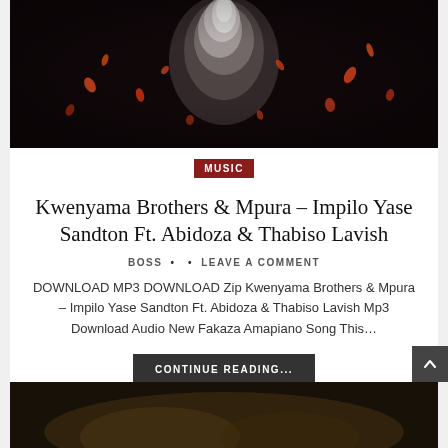[Figure (photo): Dark atmospheric photo with glowing orange embers/sparks and a figure with raised fist against a dark background]
MUSIC
Kwenyama Brothers & Mpura – Impilo Yase Sandton Ft. Abidoza & Thabiso Lavish
BOSS • • LEAVE A COMMENT
DOWNLOAD MP3 DOWNLOAD Zip Kwenyama Brothers & Mpura – Impilo Yase Sandton Ft. Abidoza & Thabiso Lavish Mp3 Download Audio New Fakaza Amapiano Song This…
CONTINUE READING...
[Figure (photo): Partial view of another article's thumbnail image at the bottom of the page]